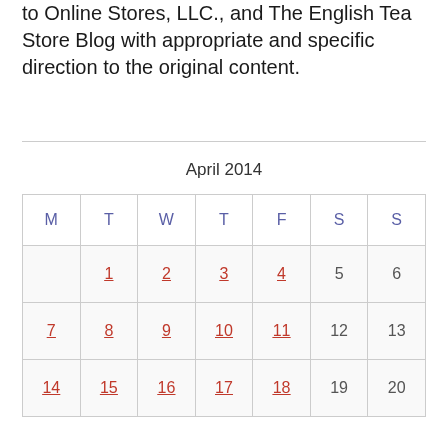to Online Stores, LLC., and The English Tea Store Blog with appropriate and specific direction to the original content.
| M | T | W | T | F | S | S |
| --- | --- | --- | --- | --- | --- | --- |
|  | 1 | 2 | 3 | 4 | 5 | 6 |
| 7 | 8 | 9 | 10 | 11 | 12 | 13 |
| 14 | 15 | 16 | 17 | 18 | 19 | 20 |